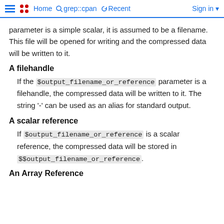Home  grep::cpan  Recent  Sign in
parameter is a simple scalar, it is assumed to be a filename. This file will be opened for writing and the compressed data will be written to it.
A filehandle
If the $output_filename_or_reference parameter is a filehandle, the compressed data will be written to it. The string '-' can be used as an alias for standard output.
A scalar reference
If $output_filename_or_reference is a scalar reference, the compressed data will be stored in $$output_filename_or_reference.
An Array Reference